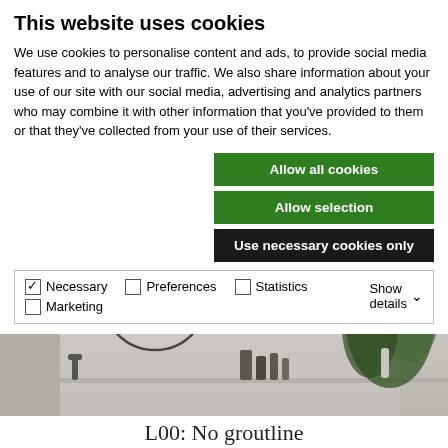This website uses cookies
We use cookies to personalise content and ads, to provide social media features and to analyse our traffic. We also share information about your use of our site with our social media, advertising and analytics partners who may combine it with other information that you've provided to them or that they've collected from your use of their services.
Allow all cookies
Allow selection
Use necessary cookies only
Necessary  Preferences  Statistics  Marketing  Show details
[Figure (photo): Bathroom interior with round mirror, green leafy plants, and personal care products on a shelf, in a neutral grey and white palette]
L00: No groutline